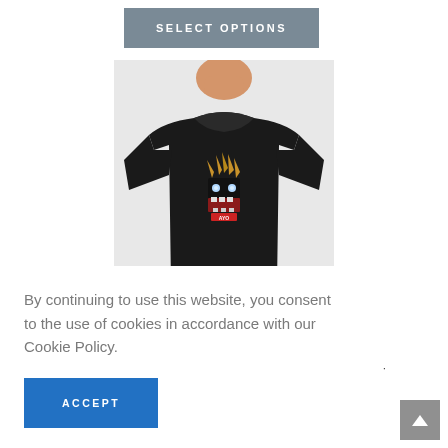SELECT OPTIONS
[Figure (photo): A young person wearing a black t-shirt with a colorful monster face graphic printed on the chest area. The shirt has a crew neck and short sleeves.]
By continuing to use this website, you consent to the use of cookies in accordance with our Cookie Policy.
ACCEPT